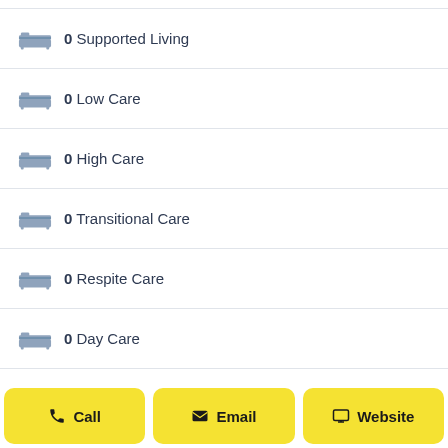0 Supported Living
0 Low Care
0 High Care
0 Transitional Care
0 Respite Care
0 Day Care
0 Dementia
Call  Email  Website